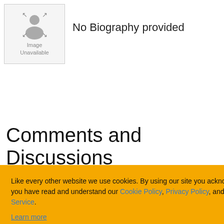[Figure (illustration): Image Unavailable placeholder with silhouette of a person icon and text 'Image Unavailable']
No Biography provided
Comments and Discussions
Like every other website we use cookies. By using our site you acknowledge that you have read and understand our Cookie Policy, Privacy Policy, and our Terms of Service. Learn more
Ask me later   Decline   Allow cookies
WingedFox   15-Mar-09 10:05